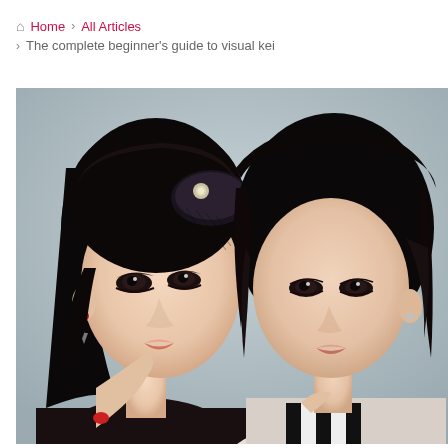🏠 Home › All Articles › The complete beginner's guide to visual kei
[Figure (photo): Two young East Asian women with heavy eye makeup and dark hair. The woman on the left has a black floral fascinator/hair accessory with netting, red drop earring, and red ring. The woman on the right has wavy dark hair and a silver earring, wearing a striped black and white scarf. Both look directly at the camera against a grey background.]